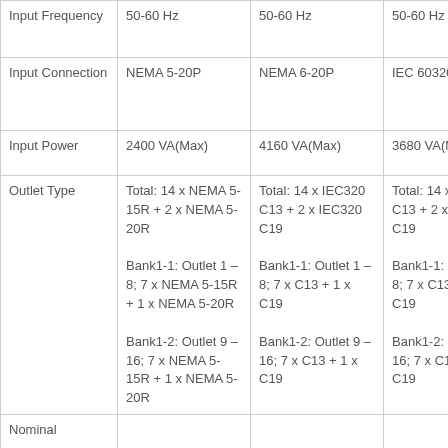| Input Frequency | 50-60 Hz | 50-60 Hz | 50-60 Hz |
| Input Connection | NEMA 5-20P | NEMA 6-20P | IEC 60320 C20 |
| Input Power | 2400 VA(Max) | 4160 VA(Max) | 3680 VA(Max) |
| Outlet Type | Total: 14 x NEMA 5-15R + 2 x NEMA 5-20R
Bank1-1: Outlet 1 – 8; 7 x NEMA 5-15R + 1 x NEMA 5-20R
Bank1-2: Outlet 9 – 16; 7 x NEMA 5-15R + 1 x NEMA 5-20R | Total: 14 x IEC320 C13 + 2 x IEC320 C19
Bank1-1: Outlet 1 – 8; 7 x C13 + 1 x C19
Bank1-2: Outlet 9 – 16; 7 x C13 + 1 x C19 | Total: 14 x IEC320 C13 + 2 x IEC320 C19
Bank1-1: Outlet 1 – 8; 7 x C13 + 1 x C19
Bank1-2: Outlet 9 – 16; 7 x C13 + 1 x C19 |
| Nominal |  |  |  |